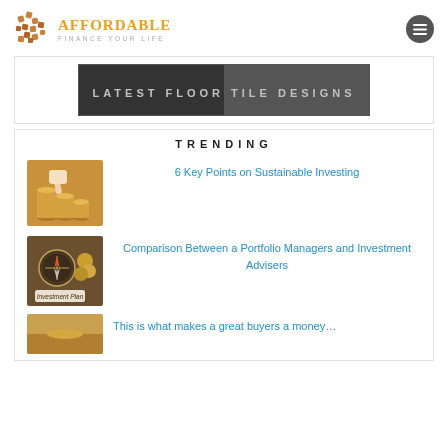[Figure (logo): Affordable Finance logo with woven icon and orange text]
[Figure (photo): Dark banner image with text LATEST FLOOR TILE DESIGNS]
TRENDING
[Figure (photo): Thumbnail of person stacking coins]
6 Key Points on Sustainable Investing
[Figure (photo): Thumbnail of compass and coins with Investment Plan text]
Comparison Between a Portfolio Managers and Investment Advisers
[Figure (photo): Partial thumbnail at bottom of page]
This is what makes a great buyer a money…